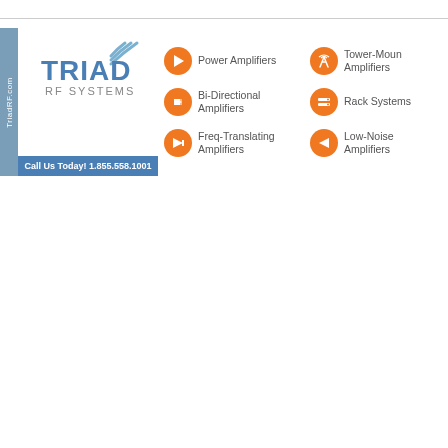[Figure (logo): Triad RF Systems logo with wireless signal arcs, orange play button icons, and product category list including Power Amplifiers, Bi-Directional Amplifiers, Freq-Translating Amplifiers, Tower-Mounted Amplifiers, Rack Systems, Low-Noise Amplifiers. Side tab reads TriadRF.com. Call bar reads Call Us Today! 1.855.558.1001]